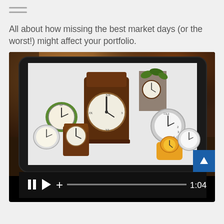All about how missing the best market days (or the worst!) might affect your portfolio.
[Figure (screenshot): Video player showing a tablet device displaying a collection of various clocks and timepieces on a white background. The video has controls at the bottom including pause, play, plus button, a progress bar, and shows timestamp 1:04. A blue scroll-up button appears in the bottom right corner of the video frame.]